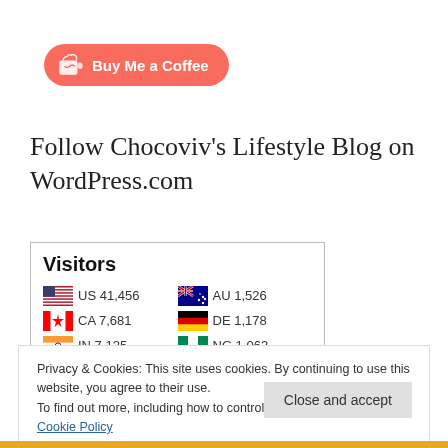[Figure (logo): Buy Me a Coffee button - red/salmon rounded pill with cup icon and text 'Buy Me a Coffee']
Follow Chocoviv’s Lifestyle Blog on WordPress.com
[Figure (table-as-image): Visitors widget showing country flags with codes and visitor counts: US 41,456 | AU 1,526 | CA 7,681 | DE 1,178 | IN 7,125 | NG 1,063 | GB 6,281 | NL 838 | IT 1,554 | IE 770]
Privacy & Cookies: This site uses cookies. By continuing to use this website, you agree to their use.
To find out more, including how to control cookies, see here: Cookie Policy
Close and accept